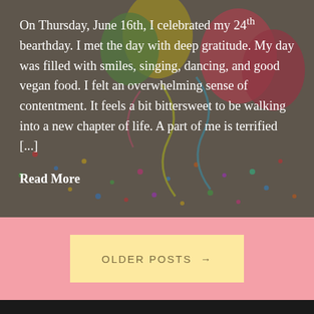[Figure (photo): Birthday party background photo showing colorful balloons and confetti scattered on a surface, with a dark overlay tint.]
On Thursday, June 16th, I celebrated my 24th bearthday. I met the day with deep gratitude. My day was filled with smiles, singing, dancing, and good vegan food. I felt an overwhelming sense of contentment. It feels a bit bittersweet to be walking into a new chapter of life. A part of me is terrified [...]
Read More
OLDER POSTS →